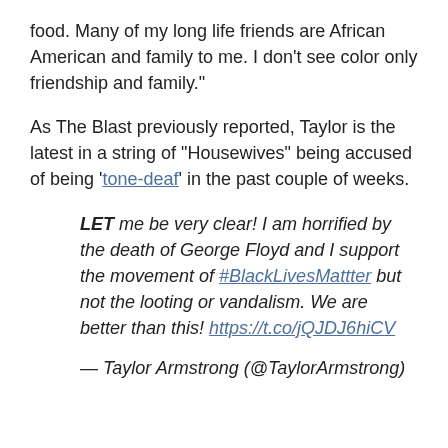food. Many of my long life friends are African American and family to me. I don’t see color only friendship and family.”
As The Blast previously reported, Taylor is the latest in a string of “Housewives” being accused of being ‘tone-deaf’ in the past couple of weeks.
LET me be very clear! I am horrified by the death of George Floyd and I support the movement of #BlackLivesMattter but not the looting or vandalism. We are better than this! https://t.co/jQJDJ6hiCV
— Taylor Armstrong (@TaylorArmstrong)